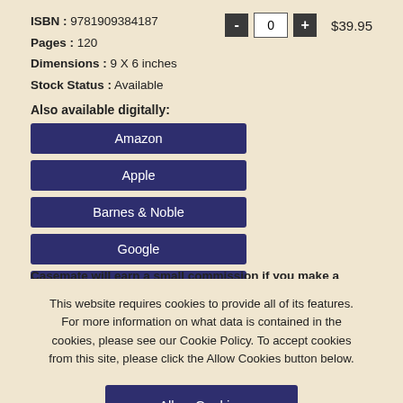ISBN : 9781909384187
Pages : 120
Dimensions : 9 X 6 inches
Stock Status : Available
- 0 + $39.95
Also available digitally:
Amazon
Apple
Barnes & Noble
Google
Kobo
Casemate will earn a small commission if you make a purchase after clicking on a link.
This website requires cookies to provide all of its features. For more information on what data is contained in the cookies, please see our Cookie Policy. To accept cookies from this site, please click the Allow Cookies button below.
Allow Cookies